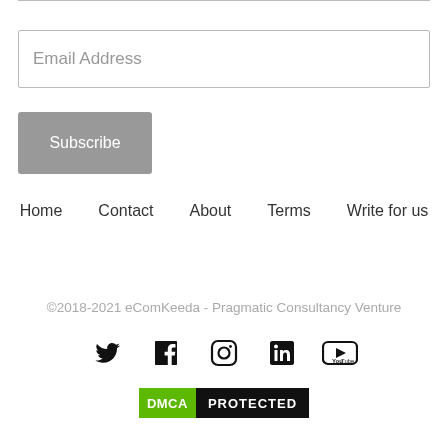Email Address
Subscribe
Home   Contact   About   Terms   Write for us
©2018-2021 eComKeeda - Pragmatic Consultancy Venture
[Figure (infographic): Social media icons: Twitter, Facebook, Instagram, LinkedIn, YouTube]
[Figure (infographic): DMCA Protected badge with green DMCA label and black PROTECTED label]